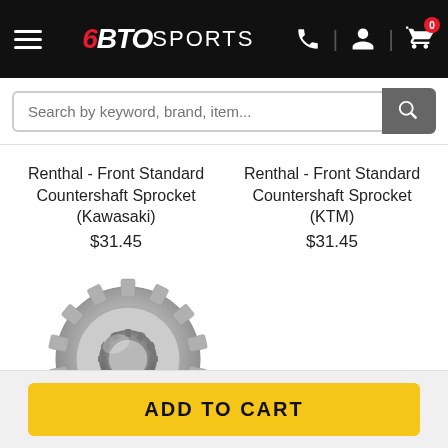[Figure (logo): BTO Sports logo on black header with hamburger menu, phone icon, user icon, and shopping cart with badge 0]
Search by keyword, brand, item...
Renthal - Front Standard Countershaft Sprocket (Kawasaki)
$31.45
Renthal - Front Standard Countershaft Sprocket (KTM)
$31.45
[Figure (photo): Metal front countershaft sprocket gear, silver/chrome colored, top-down view]
ADD TO CART